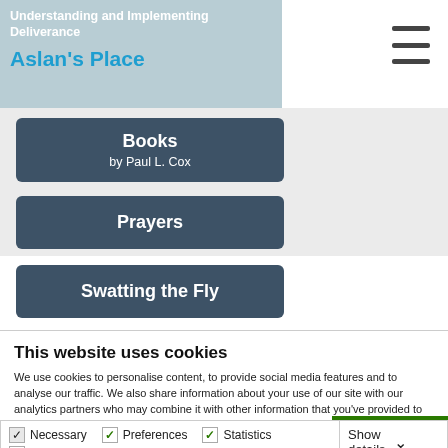Understanding and Implementing Deliverance
Aslan's Place
Books by Paul L. Cox
Prayers
Swatting the Fly
This website uses cookies
We use cookies to personalise content, to provide social media features and to analyse our traffic. We also share information about your use of our site with our analytics partners who may combine it with other information that you've provided to them or that they've collected from your use of their services. You consent to our cookies if you continue to use our website.
Necessary  Preferences  Statistics  Marketing  Show details